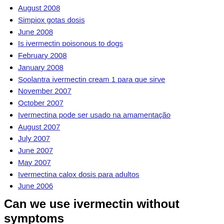August 2008
Simpiox gotas dosis
June 2008
Is ivermectin poisonous to dogs
February 2008
January 2008
Soolantra ivermectin cream 1 para que sirve
November 2007
October 2007
Ivermectina pode ser usado na amamentação
August 2007
July 2007
June 2007
May 2007
Ivermectina calox dosis para adultos
June 2006
Can we use ivermectin without symptoms
Can we use ivermectin without symptoms
My friend Thane Fredrickson-Lyme asked me: "Hey Maria, can you briefly tell me your theory of why we need to use Ivermectin